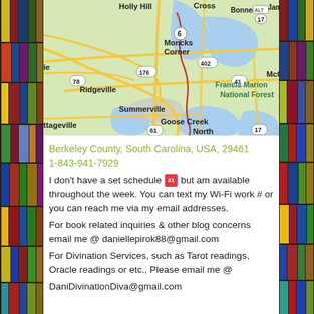[Figure (map): Google Maps screenshot showing Berkeley County, South Carolina area including Moncks Corner, Summerville, Goose Creek, Ridgeville, Holly Hill, Cross, Bonneau, Jamestown, Francis Marion National Forest, and surrounding roads and waterways.]
Berkeley County, South Carolina, USA, 29461
1-843-941-7929
I don't have a set schedule 📅 but am available throughout the week. You can text my Wi-Fi work # or you can reach me via my email addresses.
For book related inquiries & other blog concerns email me @ daniellepirok88@gmail.com
For Divination Services, such as Tarot readings, Oracle readings or etc., Please email me @
DaniDivinationDiva@gmail.com